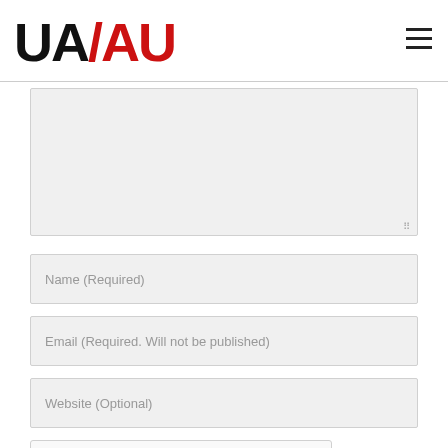UA/AU logo and navigation
[Figure (screenshot): Textarea input field with resize handle, gray background]
Name (Required)
Email (Required. Will not be published)
Website (Optional)
[Figure (screenshot): reCAPTCHA widget with checkbox and 'I'm not a robot' text]